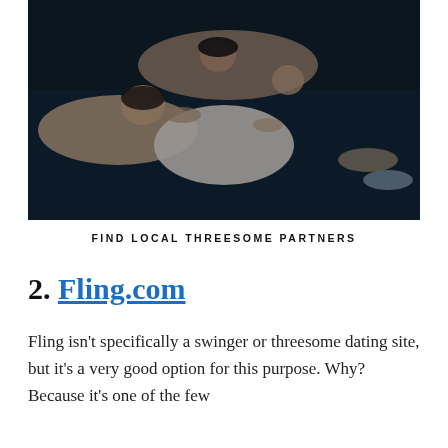[Figure (photo): Overhead photo of multiple people lying on dark blue bedding, posed together in an intimate arrangement.]
FIND LOCAL THREESOME PARTNERS
2. Fling.com
Fling isn't specifically a swinger or threesome dating site, but it's a very good option for this purpose. Why? Because it's one of the few